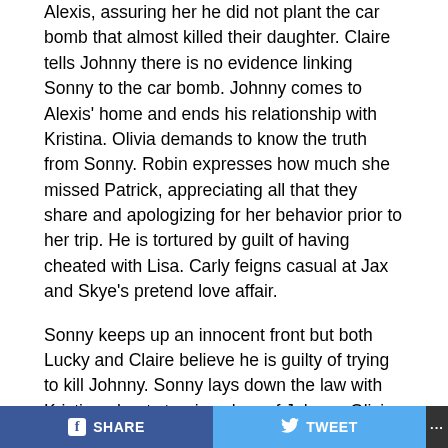Alexis, assuring her he did not plant the car bomb that almost killed their daughter. Claire tells Johnny there is no evidence linking Sonny to the car bomb. Johnny comes to Alexis' home and ends his relationship with Kristina. Olivia demands to know the truth from Sonny. Robin expresses how much she missed Patrick, appreciating all that they share and apologizing for her behavior prior to her trip. He is tortured by guilt of having cheated with Lisa. Carly feigns casual at Jax and Skye's pretend love affair.
Sonny keeps up an innocent front but both Lucky and Claire believe he is guilty of trying to kill Johnny. Sonny lays down the law with Kristina about steering clear of Johnny. Olivia has a goodbye tryst with Johnny. Ethan threatens to quit their mob partnership if Johnny retaliates against Sonny. Steve suspects Lisa and Patrick had sex...
SHARE   TWEET   ...